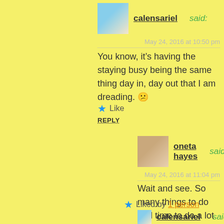calensariel said:
May 24, 2016 at 10:50 pm
You know, it's having the staying busy being the same thing day in, day out that I am dreading. 😕
Like
REPLY
oneta hayes said:
May 24, 2016 at 11:04 pm
Wait and see. So many things to do and time to do a lot of them.
Liked by 1 person
calensariel said: